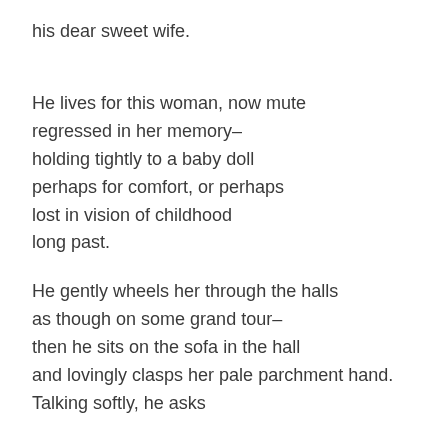his dear sweet wife.
He lives for this woman, now mute
regressed in her memory–
holding tightly to a baby doll
perhaps for comfort, or perhaps
lost in vision of childhood
long past.
He gently wheels her through the halls
as though on some grand tour–
then he sits on the sofa in the hall
and lovingly clasps her pale parchment hand.
Talking softly, he asks